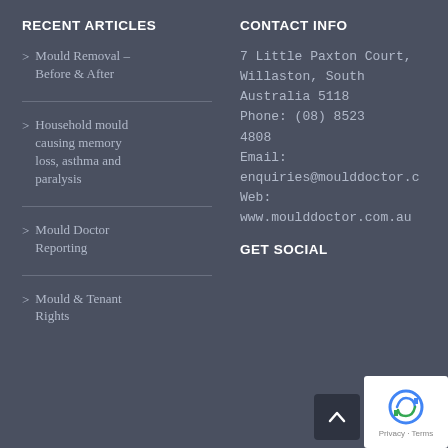RECENT ARTICLES
> Mould Removal – Before & After
> Household mould causing memory loss, asthma and paralysis
> Mould Doctor Reporting
> Mould & Tenant Rights
CONTACT INFO
7 Little Paxton Court, Willaston, South Australia 5118 Phone: (08) 8523 4808 Email: enquiries@moulddoctor.c… Web: www.moulddoctor.com.au
GET SOCIAL